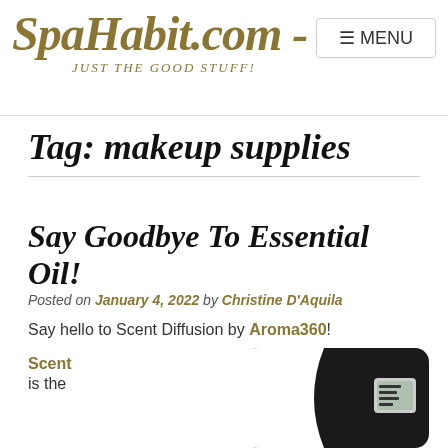SpaHabit.com - JUST THE GOOD STUFF! MENU
Tag: makeup supplies
Say Goodbye To Essential Oil!
Posted on January 4, 2022 by Christine D'Aquila
Say hello to Scent Diffusion by Aroma360!
Scent is the
[Figure (photo): Black and white scent diffuser device by Aroma360 with a digital display panel on the front right side]